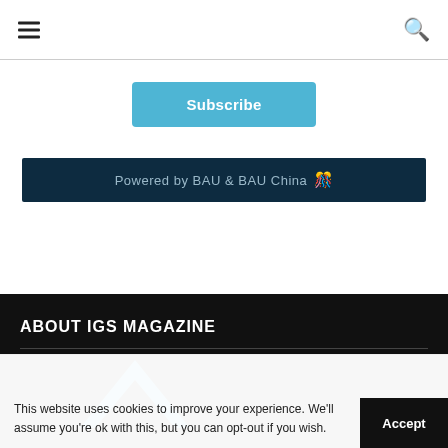≡  [navigation bar with hamburger menu and search icon]
Subscribe
[Figure (illustration): Dark banner reading 'Powered by BAU & BAU China' with colorful flag icons on dark blue background]
ABOUT IGS MAGAZINE
[Figure (logo): Partial IGS Magazine logo (blue chevron/arrow shape) visible at bottom of dark section]
This website uses cookies to improve your experience. We'll assume you're ok with this, but you can opt-out if you wish.
Accept